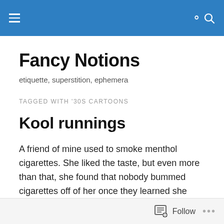Fancy Notions — navigation header
Fancy Notions
etiquette, superstition, ephemera
TAGGED WITH '30S CARTOONS
Kool runnings
A friend of mine used to smoke menthol cigarettes. She liked the taste, but even more than that, she found that nobody bummed cigarettes off of her once they learned she only had menthols. I should probably add that these
Follow